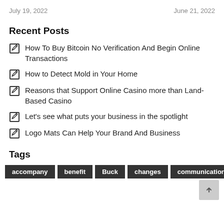July 19, 2022
June 21, 2022
Recent Posts
How To Buy Bitcoin No Verification And Begin Online Transactions
How to Detect Mold in Your Home
Reasons that Support Online Casino more than Land-Based Casino
Let's see what puts your business in the spotlight
Logo Mats Can Help Your Brand And Business
Tags
accompany
benefit
Buck
changes
communication